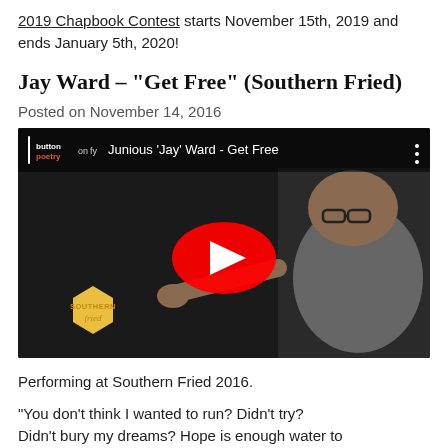2019 Chapbook Contest starts November 15th, 2019 and ends January 5th, 2020!
Jay Ward – "Get Free" (Southern Fried)
Posted on November 14, 2016
[Figure (screenshot): YouTube video thumbnail showing Junious 'Jay' Ward - Get Free, with Button Poetry logo on left, a man in a grey t-shirt pointing, Southern Fried logo in bottom left, and YouTube play button overlay in center.]
Performing at Southern Fried 2016.
“You don’t think I wanted to run? Didn’t try? Didn’t bury my dreams? Hope is enough water to